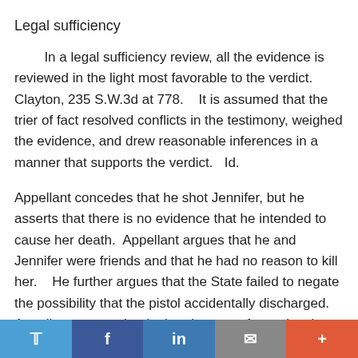Legal sufficiency
In a legal sufficiency review, all the evidence is reviewed in the light most favorable to the verdict.   Clayton, 235 S.W.3d at 778.    It is assumed that the trier of fact resolved conflicts in the testimony, weighed the evidence, and drew reasonable inferences in a manner that supports the verdict.   Id.
Appellant concedes that he shot Jennifer, but he asserts that there is no evidence that he intended to cause her death.  Appellant argues that he and Jennifer were friends and that he had no reason to kill her.    He further argues that the State failed to negate the possibility that the pistol accidentally discharged.    Appellant argues that in the absence of any showing of motive or any direct evidence of the manner in which he shot Jennifer, the jury could not rationally find beyond a reasonable doubt that he
Twitter | Facebook | LinkedIn | Email | +